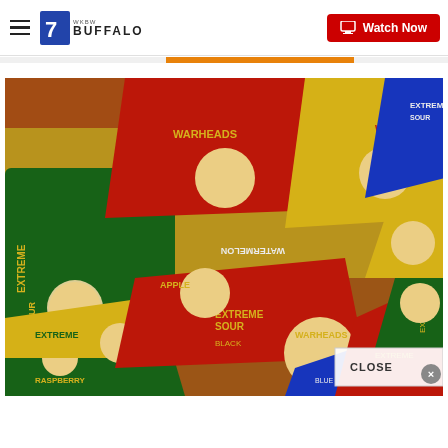7 BUFFALO | Watch Now
[Figure (photo): Assorted Warheads Extreme Sour candy wrappers in multiple colors (red, yellow, green, blue) piled together, showing flavors including Watermelon, Apple, Black (cherry), and Raspberry]
CLOSE ×